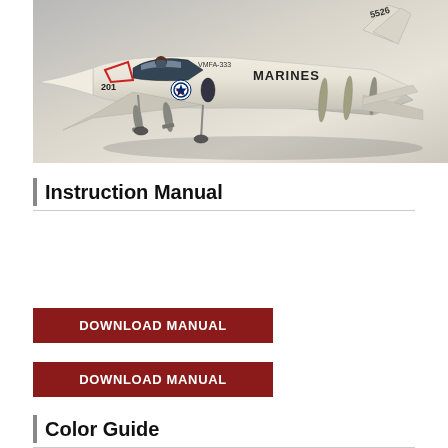[Figure (photo): Scale model of a US Marines F-4 Phantom jet fighter, numbered 201 and 5526, with VMFA-333 markings, armed with missiles and bombs, displayed on a light grey surface.]
Instruction Manual
DOWNLOAD MANUAL
DOWNLOAD MANUAL
Color Guide